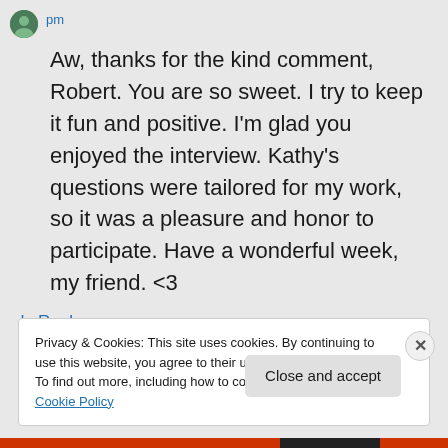pm
Aw, thanks for the kind comment, Robert. You are so sweet. I try to keep it fun and positive. I'm glad you enjoyed the interview. Kathy's questions were tailored for my work, so it was a pleasure and honor to participate. Have a wonderful week, my friend. <3
↳ Reply
Privacy & Cookies: This site uses cookies. By continuing to use this website, you agree to their use.
To find out more, including how to control cookies, see here: Cookie Policy
Close and accept